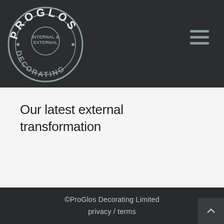ProGlos Decorating - Internal & External
Our latest external transformation
©ProGlos Decorating Limited
privacy / terms